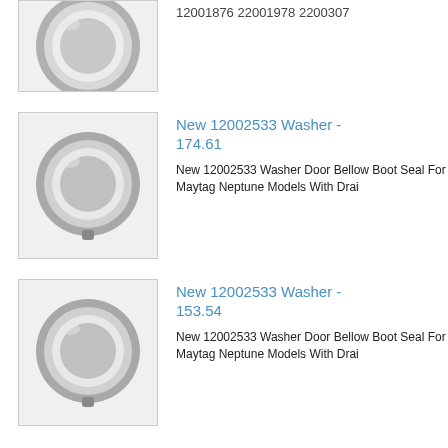[Figure (photo): Washer door bellow boot seal ring, gray, top item partially cropped]
12001876 22001978 2200307
[Figure (photo): Washer door bellow boot seal ring, gray, second item]
New 12002533 Washer - 174.61
New 12002533 Washer Door Bellow Boot Seal For Maytag Neptune Models With Drai
[Figure (photo): Washer door bellow boot seal ring, gray, third item]
New 12002533 Washer - 153.54
New 12002533 Washer Door Bellow Boot Seal For Maytag Neptune Models With Drai